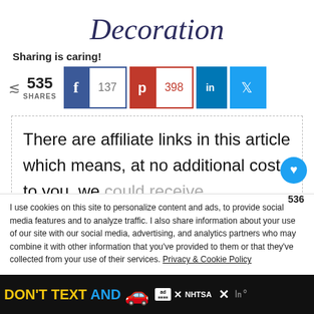Decoration
Sharing is caring!
[Figure (infographic): Social share bar showing 535 SHARES with Facebook (137), Pinterest (398), LinkedIn, and Twitter buttons]
There are affiliate links in this article which means, at no additional cost to you, we could receive compensation for our
I use cookies on this site to personalize content and ads, to provide social media features and to analyze traffic. I also share information about your use of our site with our social media, advertising, and analytics partners who may combine it with other information that you've provided to them or that they've collected from your use of their services. Privacy & Cookie Policy
[Figure (infographic): Ad banner at bottom: DON'T TEXT AND [car emoji] with NHTSA branding and close buttons]